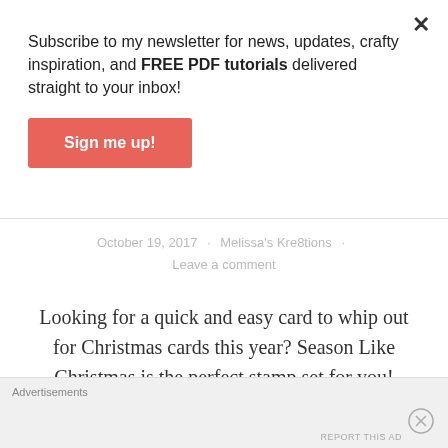Subscribe to my newsletter for news, updates, crafty inspiration, and FREE PDF tutorials delivered straight to your inbox!
Sign me up!
October 19, 2017 · Melissa's Kre8tions · Leave a comment
Looking for a quick and easy card to whip out for Christmas cards this year? Season Like Christmas is the perfect stamp set for you!
Advertisements